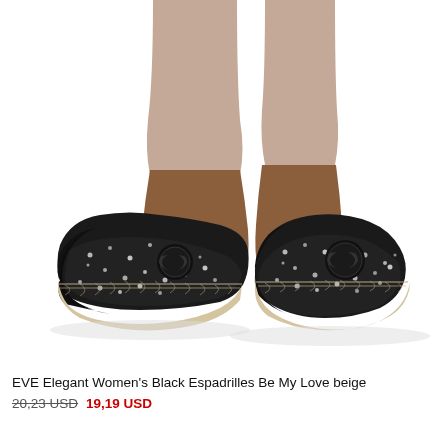[Figure (photo): Photo of a woman's feet wearing black tweed espadrilles with black leather toe cap, interlocking CC-style logo, and rope espadrille sole. The model is wearing beige/taupe leggings. White background.]
EVE Elegant Women's Black Espadrilles Be My Love beige
20,23 USD 19,19 USD